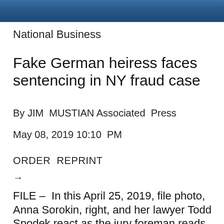[Figure (photo): Blue-toned photograph banner at the top of the page]
National Business
Fake German heiress faces sentencing in NY fraud case
By JIM MUSTIAN Associated Press
May 08, 2019 10:10 PM
ORDER REPRINT
→
FILE – In this April 25, 2019, file photo, Anna Sorokin, right, and her lawyer Todd Spodek react as the jury foreman reads the verdict in New York.